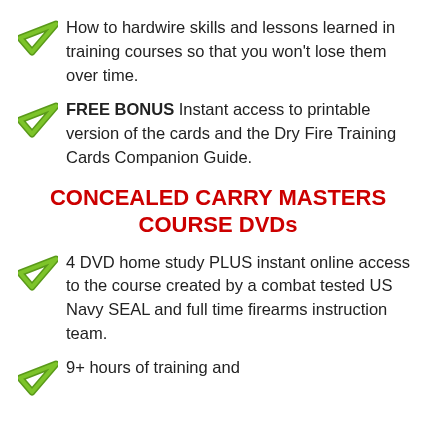How to hardwire skills and lessons learned in training courses so that you won't lose them over time.
FREE BONUS Instant access to printable version of the cards and the Dry Fire Training Cards Companion Guide.
CONCEALED CARRY MASTERS COURSE DVDs
4 DVD home study PLUS instant online access to the course created by a combat tested US Navy SEAL and full time firearms instruction team.
9+ hours of training and